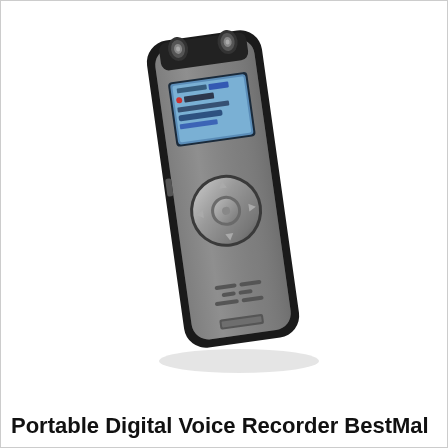[Figure (photo): A portable digital voice recorder shown at a slight angle. The device is slim and elongated with a dark black/charcoal body and metallic gray face. It has dual microphones at the top, a small blue LCD screen in the upper portion showing recording info, a large circular silver navigation/control wheel in the middle, and speaker grille slots near the bottom. The device casts a subtle shadow and reflection below it on a white background.]
Portable Digital Voice Recorder BestMal